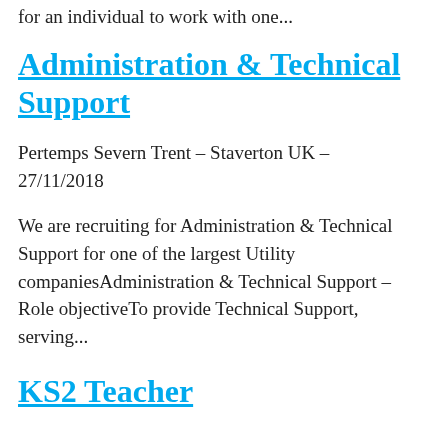for an individual to work with one...
Administration & Technical Support
Pertemps Severn Trent – Staverton UK – 27/11/2018
We are recruiting for Administration & Technical Support for one of the largest Utility companiesAdministration & Technical Support – Role objectiveTo provide Technical Support, serving...
KS2 Teacher